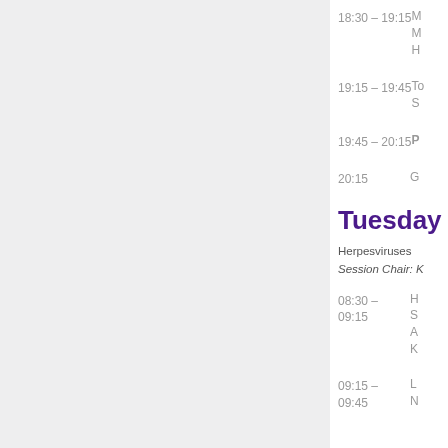18:30 – 19:15 | M M H
19:15 – 19:45 | To S
19:45 – 20:15 | P
20:15 | G
Tuesday
Herpesviruses
Session Chair: K
08:30 – 09:15 | H S A K
09:15 – 09:45 | L N